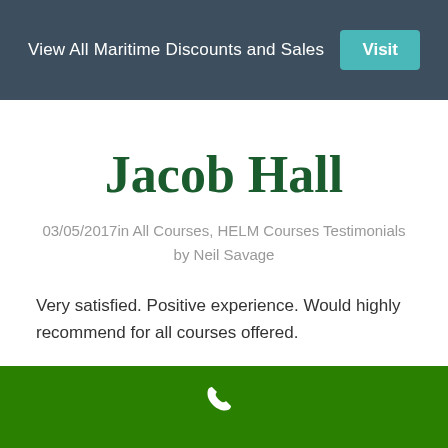View All Maritime Discounts and Sales  Visit
Jacob Hall
03/05/2017in All Courses, HELM Courses Testimonials by Neil Savage
Very satisfied. Positive experience. Would highly recommend for all courses offered.
[phone icon]